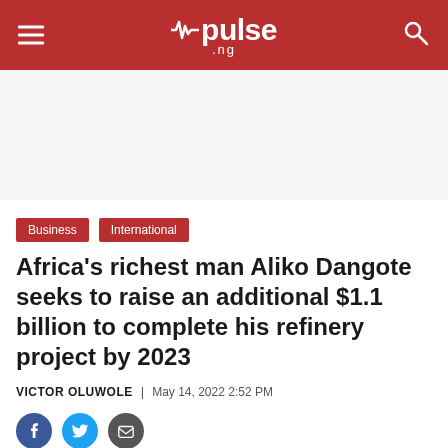pulse.ng
Business
International
Africa’s richest man Aliko Dangote seeks to raise an additional $1.1 billion to complete his refinery project by 2023
VICTOR OLUWOLE | May 14, 2022 2:52 PM